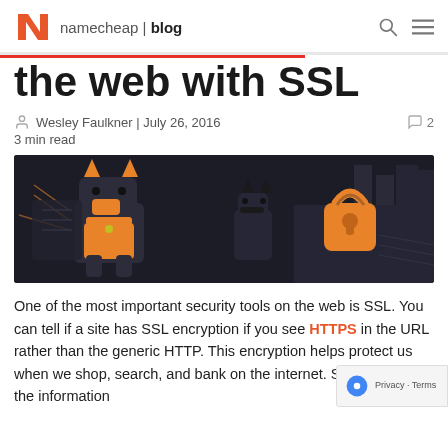namecheap | blog
the web with SSL
Wesley Faulkner | July 26, 2016   2
3 min read
[Figure (illustration): Dark illustration of two robotic doberman dogs with orange accents guarding a castle-like structure, with an orange padlock symbol on the right side, representing web security/SSL.]
One of the most important security tools on the web is SSL. You can tell if a site has SSL encryption if you see HTTPS in the URL rather than the generic HTTP. This encryption helps protect us when we shop, search, and bank on the internet. SSL encrypts the information